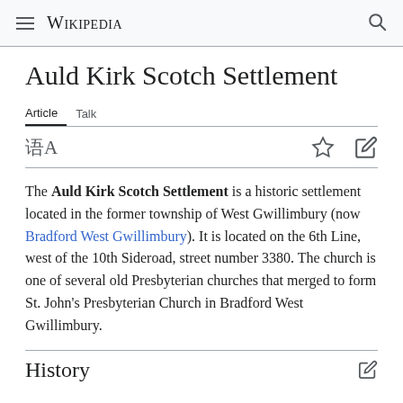Wikipedia
Auld Kirk Scotch Settlement
Article  Talk
The Auld Kirk Scotch Settlement is a historic settlement located in the former township of West Gwillimbury (now Bradford West Gwillimbury). It is located on the 6th Line, west of the 10th Sideroad, street number 3380. The church is one of several old Presbyterian churches that merged to form St. John's Presbyterian Church in Bradford West Gwillimbury.
History